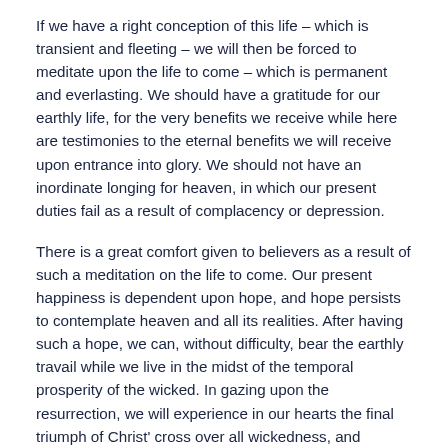If we have a right conception of this life – which is transient and fleeting – we will then be forced to meditate upon the life to come – which is permanent and everlasting. We should have a gratitude for our earthly life, for the very benefits we receive while here are testimonies to the eternal benefits we will receive upon entrance into glory. We should not have an inordinate longing for heaven, in which our present duties fail as a result of complacency or depression.
There is a great comfort given to believers as a result of such a meditation on the life to come. Our present happiness is dependent upon hope, and hope persists to contemplate heaven and all its realities. After having such a hope, we can, without difficulty, bear the earthly travail while we live in the midst of the temporal prosperity of the wicked. In gazing upon the resurrection, we will experience in our hearts the final triumph of Christ' cross over all wickedness, and cultivate in our heart the hope of eternal glory yet to come.
Chapter 10: How we must use the Present Life and its